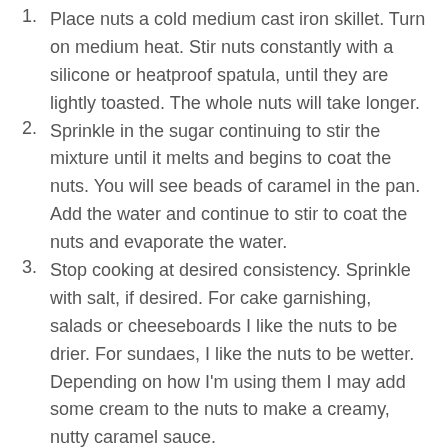Place nuts a cold medium cast iron skillet. Turn on medium heat. Stir nuts constantly with a silicone or heatproof spatula, until they are lightly toasted. The whole nuts will take longer.
Sprinkle in the sugar continuing to stir the mixture until it melts and begins to coat the nuts. You will see beads of caramel in the pan. Add the water and continue to stir to coat the nuts and evaporate the water.
Stop cooking at desired consistency. Sprinkle with salt, if desired. For cake garnishing, salads or cheeseboards I like the nuts to be drier. For sundaes, I like the nuts to be wetter. Depending on how I'm using them I may add some cream to the nuts to make a creamy, nutty caramel sauce.